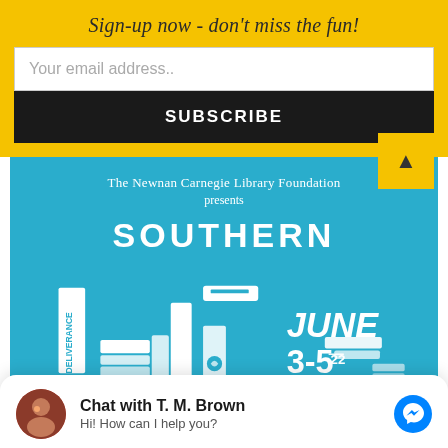Sign-up now - don't miss the fun!
Your email address..
SUBSCRIBE
[Figure (illustration): The Newnan Carnegie Library Foundation presents SOUTHERN event poster with book illustrations, June 3-5 22, on a teal/blue background. Books shown include 'Deliverance'. Chat overlay with T. M. Brown avatar at the bottom.]
Chat with T. M. Brown
Hi! How can I help you?